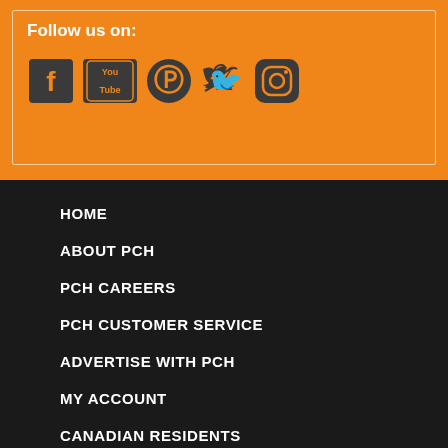Follow us on:
[Figure (illustration): Social media icons: Facebook, YouTube, Pinterest, Twitter, Instagram]
HOME
ABOUT PCH
PCH CAREERS
PCH CUSTOMER SERVICE
ADVERTISE WITH PCH
MY ACCOUNT
CANADIAN RESIDENTS